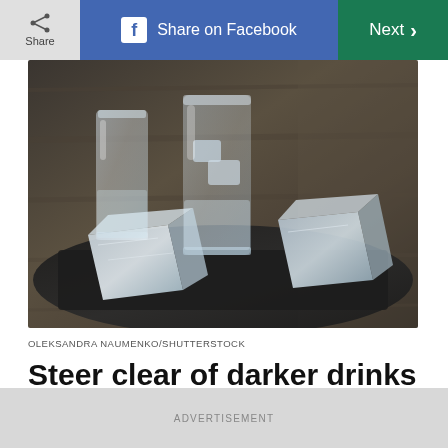Share | Share on Facebook | Next >
[Figure (photo): Clear shot glasses with ice cubes on a dark slate board, wooden background]
OLEKSANDRA NAUMENKO/SHUTTERSTOCK
Steer clear of darker drinks
Clear liquors like gin and vodka have fewer toxins
ADVERTISEMENT